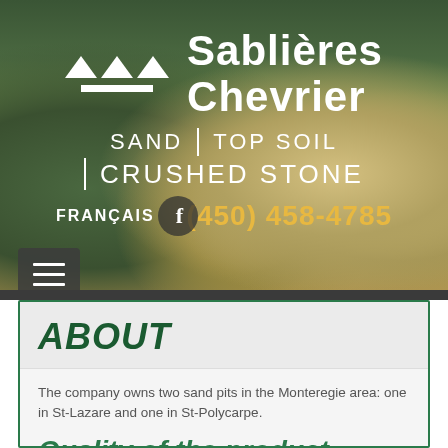[Figure (screenshot): Aerial view of sand pits with mounds of sand and gravel, green forests in background, heavy machinery visible]
Sablières Chevrier
SAND | TOP SOIL
CRUSHED STONE
FRANÇAIS    (450) 458-4785
ABOUT
The company owns two sand pits in the Monteregie area: one in St-Lazare and one in St-Polycarpe.
Quality of the product